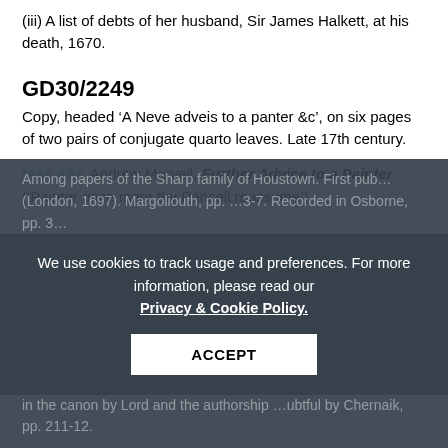(iii) A list of debts of her husband, Sir James Halkett, at his death, 1670.
GD30/2249
Copy, headed ‘A Neve adveis to a panter &c’, on six pages of two pairs of conjugate quarto leaves. Late 17th century.
MaA 494: Andrew Marvell, Further Advice to a Painter (‘Painter once more thy Pencell reassume’)
Among papers of the Sharp family of Houstown. First pub... (London, 1697). Margoliouth, pp. ...3-7. Recorded in Osborne, pp. 3... in the canon by Lord and the authorship ...ubtful by Chernaik, pp. 211-12.
We use cookies to track usage and preferences. For more information, please read our Privacy & Cookie Policy.